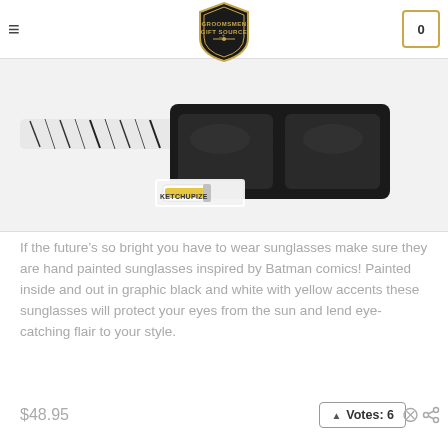Groomsmen Gift Source
[Figure (photo): Hand painted Batman comics inspired sunglasses, black frames with graphic black and white pattern on arms, dark lenses. Ketchupize watermark logo visible.]
If the future’s so bright you have to wear sunglasses make sure they are hand painted sunglasses inspired by Batman comics! Painted inside and out in graphic black and white with yellow accents these sunglasses will protect your eyes from the sun and lend eye-catching flair to your style.
$48.95
▲ Votes: 6